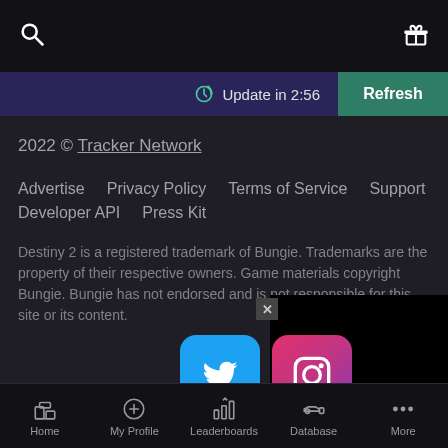Search | Gift
Update in 2:56 | Refresh
2022 © Tracker Network
Advertise   Privacy Policy   Terms of Service   Support
Developer API   Press Kit
Destiny 2 is a registered trademark of Bungie. Trademarks are the property of their respective owners. Game materials copyright Bungie. Bungie has not endorsed and is not responsible for this site or its content.
[Figure (logo): Twitter bird logo button (blue)]
[Figure (logo): Instagram camera logo button (pink/purple gradient)]
Home | My Profile | Leaderboards | Database | More